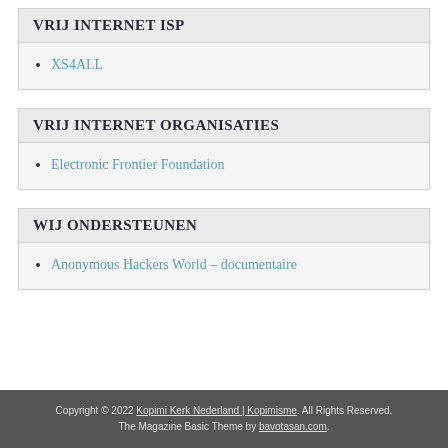VRIJ INTERNET ISP
XS4ALL
VRIJ INTERNET ORGANISATIES
Electronic Frontier Foundation
WIJ ONDERSTEUNEN
Anonymous Hackers World – documentaire
Copyright © 2022 Kopimi Kerk Nederland | Kopimisme. All Rights Reserved. The Magazine Basic Theme by bavotasan.com.